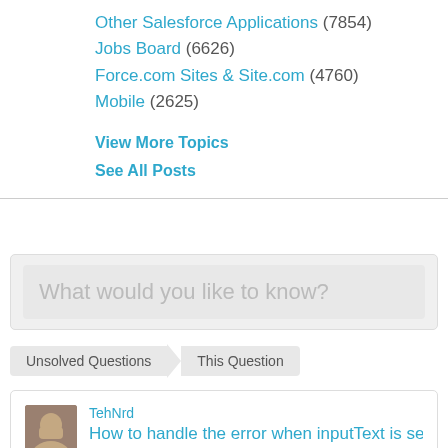Other Salesforce Applications (7854)
Jobs Board (6626)
Force.com Sites & Site.com (4760)
Mobile (2625)
View More Topics
See All Posts
[Figure (screenshot): Search input box with placeholder text 'What would you like to know?']
Unsolved Questions > This Question
TehNrd
How to handle the error when inputText is set to...
In the process of building out a Visualforce page I ha... handle. I have an inputText field that maps to an Inte... the user enters in a Integer. Yet if they enter letters or...